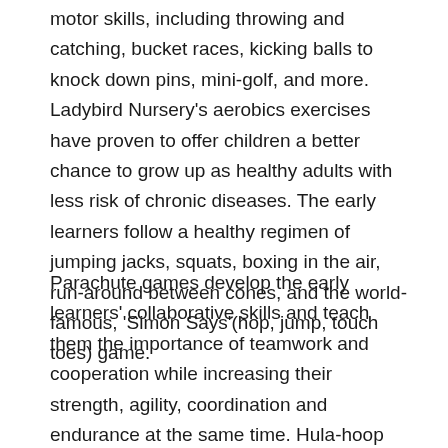motor skills, including throwing and catching, bucket races, kicking balls to knock down pins, mini-golf, and more. Ladybird Nursery's aerobics exercises have proven to offer children a better chance to grow up as healthy adults with less risk of chronic diseases. The early learners follow a healthy regimen of jumping jacks, squats, boxing in the air, run-around between cones, and the world-famous, 'Simon Says'(hop, jump, touch toes) game.
Parachute games develop the early learners' collaborative skills and teach them the importance of teamwork and cooperation while increasing their strength, agility, coordination and endurance at the same time. Hula-hoop activities reduce their anxiety levels by strengthening muscles and improving coordination skills, enabling children to reduce their